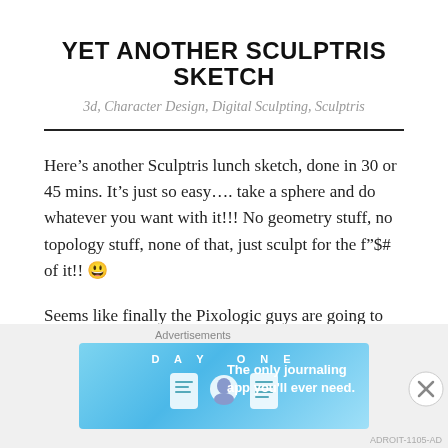YET ANOTHER SCULPTRIS SKETCH
3d, Character Design, Digital Sculpting, Sculptris
Here’s another Sculptris lunch sketch, done in 30 or 45 mins. It’s just so easy…. take a sphere and do whatever you want with it!!! No geometry stuff, no topology stuff, none of that, just sculpt for the f”$# of it!! 😃
Seems like finally the Pixologic guys are going to give
[Figure (screenshot): Day One journaling app advertisement banner with blue gradient background, app icons, and tagline 'The only journaling app you’ll ever need.']